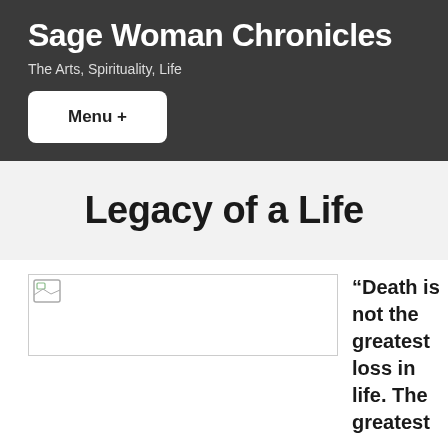Sage Woman Chronicles
The Arts, Spirituality, Life
Menu +
Legacy of a Life
[Figure (photo): Broken/placeholder image icon in top-left of image box]
“Death is not the greatest loss in life. The greatest